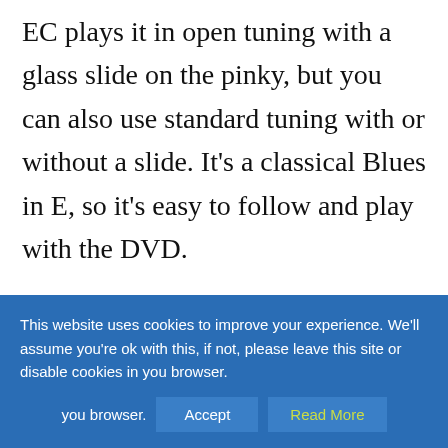EC plays it in open tuning with a glass slide on the pinky, but you can also use standard tuning with or without a slide. It's a classical Blues in E, so it's easy to follow and play with the DVD.
I've tabbed it in standard tuning using a slide, for the original sound you need an open E tuning. Sometimes it's difficult to get all notes including the bass line, but you can
This website uses cookies to improve your experience. We'll assume you're ok with this, if not, please leave this site or disable cookies in you browser.